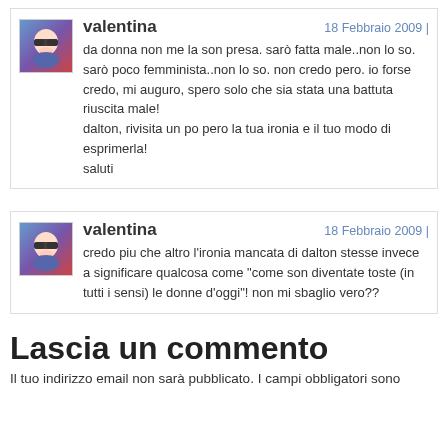[Figure (illustration): Avatar image of user valentina - stylized face with sunglasses on colored background]
valentina
18 Febbraio 2009 |
da donna non me la son presa. sarò fatta male..non lo so. sarò poco femminista..non lo so. non credo pero. io forse credo, mi auguro, spero solo che sia stata una battuta riuscita male!
dalton, rivisita un po pero la tua ironia e il tuo modo di esprimerla!
saluti
[Figure (illustration): Avatar image of user valentina - stylized face with sunglasses on colored background]
valentina
18 Febbraio 2009 |
credo piu che altro l'ironia mancata di dalton stesse invece a significare qualcosa come "come son diventate toste (in tutti i sensi) le donne d'oggi"! non mi sbaglio vero??
Lascia un commento
Il tuo indirizzo email non sarà pubblicato. I campi obbligatori sono